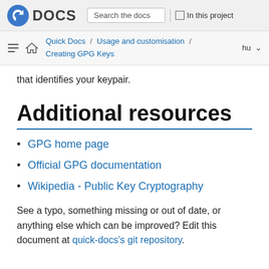DOCS — Search the docs | In this project
Quick Docs / Usage and customisation / Creating GPG Keys — hu
that identifies your keypair.
Additional resources
GPG home page
Official GPG documentation
Wikipedia - Public Key Cryptography
See a typo, something missing or out of date, or anything else which can be improved? Edit this document at quick-docs's git repository.